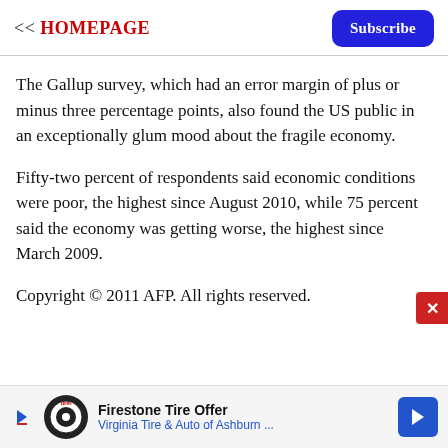<< HOMEPAGE   Subscribe
The Gallup survey, which had an error margin of plus or minus three percentage points, also found the US public in an exceptionally glum mood about the fragile economy.
Fifty-two percent of respondents said economic conditions were poor, the highest since August 2010, while 75 percent said the economy was getting worse, the highest since March 2009.
Copyright © 2011 AFP. All rights reserved.
Firestone Tire Offer Virginia Tire & Auto of Ashburn ...